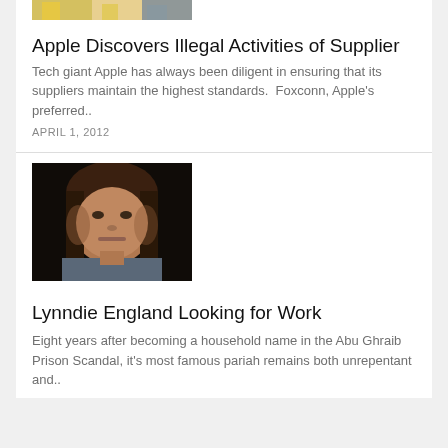[Figure (photo): Partial top of image showing people in yellow and grey clothing, cropped at top of page]
Apple Discovers Illegal Activities of Supplier
Tech giant Apple has always been diligent in ensuring that its suppliers maintain the highest standards.  Foxconn, Apple's preferred..
APRIL 1, 2012
[Figure (photo): Portrait photo of Lynndie England, a young woman with dark brown hair looking at the camera with a serious expression, dark background]
Lynndie England Looking for Work
Eight years after becoming a household name in the Abu Ghraib Prison Scandal, it's most famous pariah remains both unrepentant and..